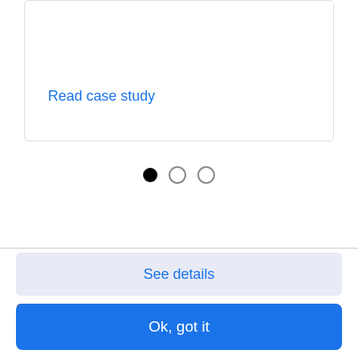Read case study
[Figure (other): Carousel pagination dots: one filled black dot and two empty circle dots]
Google serves cookies to analyze traffic to this site. Information about your use of our site is shared with Google for that purpose.
See details
Ok, got it